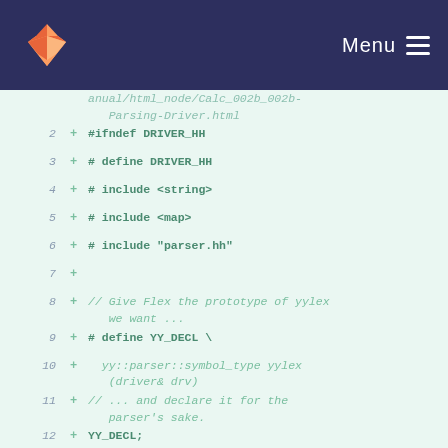[Figure (screenshot): GitLab navigation bar with fox logo and Menu button on dark navy background]
anual/html_node/Calc_002b_002b-Parsing-Driver.html
2  + #ifndef DRIVER_HH
3  + # define DRIVER_HH
4  + # include <string>
5  + # include <map>
6  + # include "parser.hh"
7  +
8  + // Give Flex the prototype of yylex we want ...
9  + # define YY_DECL \
10 +   yy::parser::symbol_type yylex (driver& drv)
11 + // ... and declare it for the parser's sake.
12 + YY_DECL;
13 +
14 + // Conducting the whole scanning and parsing of Calc++.
15 + class driver